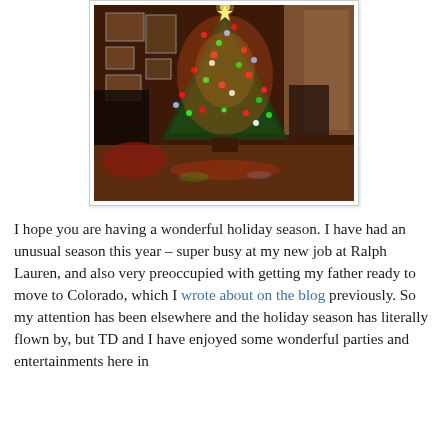[Figure (photo): A decorated Christmas tree with colorful lights (red, green, blue, white) glowing in a dimly lit room with hardwood floors, framed pictures on the wall, and furniture visible in the background.]
I hope you are having a wonderful holiday season. I have had an unusual season this year – super busy at my new job at Ralph Lauren, and also very preoccupied with getting my father ready to move to Colorado, which I wrote about on the blog previously. So my attention has been elsewhere and the holiday season has literally flown by, but TD and I have enjoyed some wonderful parties and entertainments here in